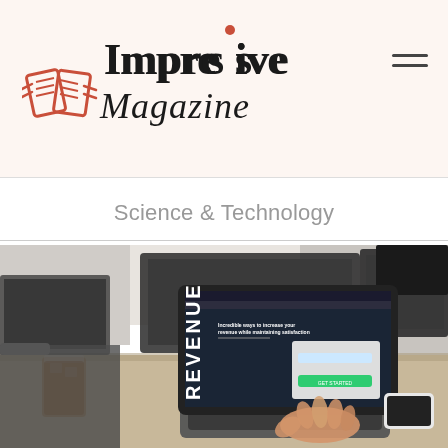Impressive Magazine
Science & Technology
[Figure (photo): Person using a laptop at a desk showing a website with the word REVENUE, with a glass of iced tea, a smartphone, and monitors in the background]